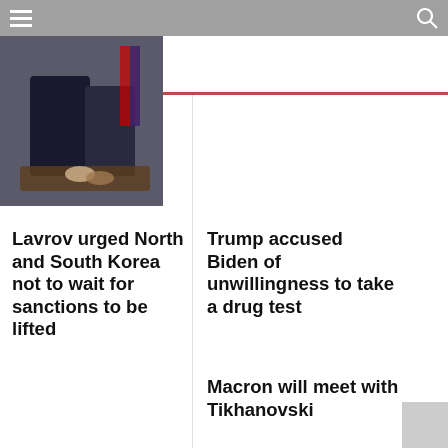[Figure (photo): Photograph of two people shaking hands at a formal event with flags in the background]
Lavrov urged North and South Korea not to wait for sanctions to be lifted
Trump accused Biden of unwillingness to take a drug test
Macron will meet with Tikhanovski